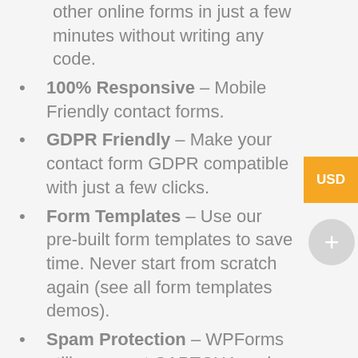other online forms in just a few minutes without writing any code.
100% Responsive – Mobile Friendly contact forms.
GDPR Friendly – Make your contact form GDPR compatible with just a few clicks.
Form Templates – Use our pre-built form templates to save time. Never start from scratch again (see all form templates demos).
Spam Protection – WPForms utilizes smart CAPTCHA and Honeypot method to stop spam contact form submissions.
Instant Form Notification – Quickly respond to incoming inquiries with our instant contact form notification system.
Smart Form Confirmation – Show a custom success message, or redirect users to a